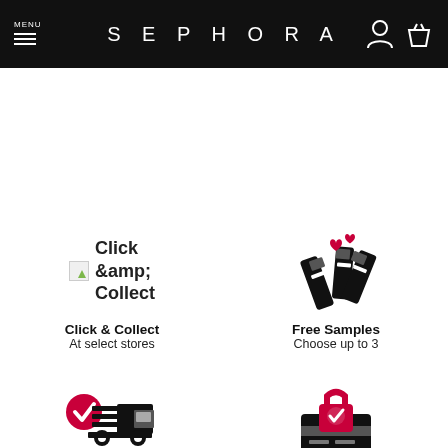SEPHORA
[Figure (infographic): Click & Collect icon with broken image placeholder, bold label 'Click & Collect', subtext 'At select stores']
[Figure (infographic): Free Samples icon showing makeup swatches with red hearts, bold label 'Free Samples', subtext 'Choose up to 3']
[Figure (infographic): Free Delivery icon showing delivery truck with red checkmark, bold label 'Free Delivery']
[Figure (infographic): Secure Payment icon showing padlock on credit card with red checkmark, bold label 'Secure Payment']